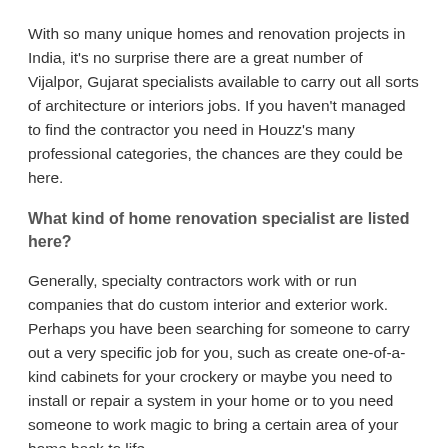With so many unique homes and renovation projects in India, it's no surprise there are a great number of Vijalpor, Gujarat specialists available to carry out all sorts of architecture or interiors jobs. If you haven't managed to find the contractor you need in Houzz's many professional categories, the chances are they could be here.
What kind of home renovation specialist are listed here?
Generally, specialty contractors work with or run companies that do custom interior and exterior work. Perhaps you have been searching for someone to carry out a very specific job for you, such as create one-of-a-kind cabinets for your crockery or maybe you need to install or repair a system in your home or to you need someone to work magic to bring a certain area of your home back to life.
You can find a broad range of specialty contractors from elevator companies to packers and movers in Vijalpor,